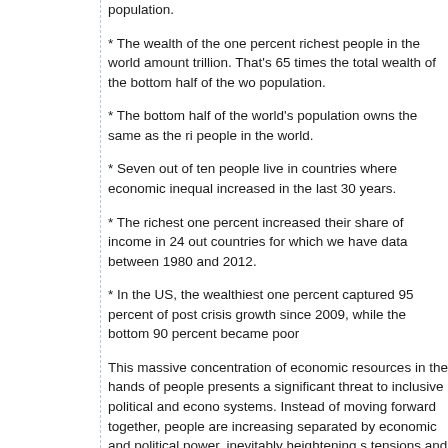population.
* The wealth of the one percent richest people in the world amount trillion. That's 65 times the total wealth of the bottom half of the world population.
* The bottom half of the world's population owns the same as the richest people in the world.
* Seven out of ten people live in countries where economic inequality increased in the last 30 years.
* The richest one percent increased their share of income in 24 out of countries for which we have data between 1980 and 2012.
* In the US, the wealthiest one percent captured 95 percent of post crisis growth since 2009, while the bottom 90 percent became poor
This massive concentration of economic resources in the hands of people presents a significant threat to inclusive political and economic systems. Instead of moving forward together, people are increasingly separated by economic and political power, inevitably heightening social tensions and increasing the risk of societal breakdown.
Oxfam's polling from across the world captures the belief of many that and regulations are now designed to benefit the rich. A survey in six (Spain, Brazil, India, South Africa, the UK and the US) showed that of people believe that laws are skewed in favor of the rich — in Sp